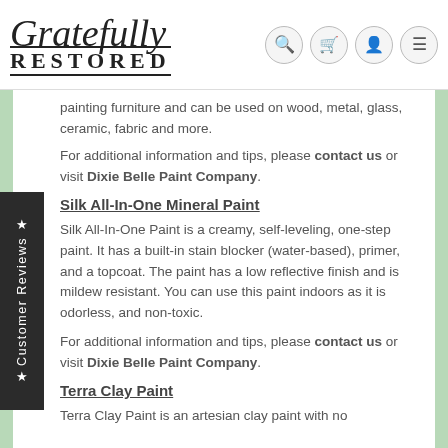[Figure (logo): Gratefully Restored logo with script and serif text]
painting furniture and can be used on wood, metal, glass, ceramic, fabric and more.
For additional information and tips, please contact us or visit Dixie Belle Paint Company.
Silk All-In-One Mineral Paint
Silk All-In-One Paint is a creamy, self-leveling, one-step paint. It has a built-in stain blocker (water-based), primer, and a topcoat. The paint has a low reflective finish and is mildew resistant. You can use this paint indoors as it is odorless, and non-toxic.
For additional information and tips, please contact us or visit Dixie Belle Paint Company.
Terra Clay Paint
Terra Clay Paint is an artesian clay paint with no